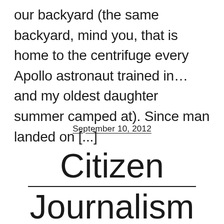our backyard (the same backyard, mind you, that is home to the centrifuge every Apollo astronaut trained in…and my oldest daughter summer camped at). Since man landed on [...]
September 10, 2012
Citizen Journalism FTW